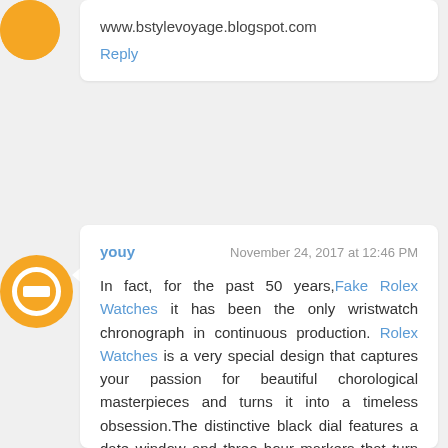www.bstylevoyage.blogspot.com
Reply
youy
November 24, 2017 at 12:46 PM
In fact, for the past 50 years,Fake Rolex Watches it has been the only wristwatch chronograph in continuous production. Rolex Watches is a very special design that captures your passion for beautiful chorological masterpieces and turns it into a timeless obsession.The distinctive black dial features a date window and three hour markers that turn the Rolex Watche into an analog computer. Of course, not everyone knows here is a lot of the Hermes handbags in the store .The Hermes